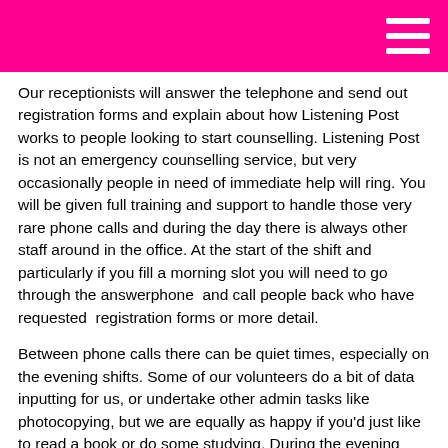Our receptionists will answer the telephone and send out registration forms and explain about how Listening Post works to people looking to start counselling. Listening Post is not an emergency counselling service, but very occasionally people in need of immediate help will ring. You will be given full training and support to handle those very rare phone calls and during the day there is always other staff around in the office. At the start of the shift and particularly if you fill a morning slot you will need to go through the answerphone  and call people back who have requested  registration forms or more detail.
Between phone calls there can be quiet times, especially on the evening shifts. Some of our volunteers do a bit of data inputting for us, or undertake other admin tasks like photocopying, but we are equally as happy if you'd just like to read a book or do some studying. During the evening shifts there will be no other office staff available, but you will not be alone in the building as the counsellor will also be on shift. You will also have an emergency mobile number for the office staff should you need it.